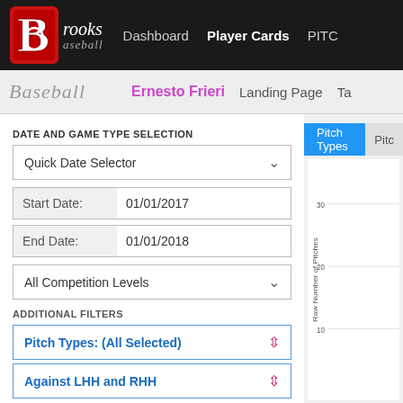Brooks Baseball - Dashboard | Player Cards | PITC...
Brooks Baseball - Ernesto Frieri | Landing Page | Ta...
DATE AND GAME TYPE SELECTION
Quick Date Selector
Start Date: 01/01/2017
End Date: 01/01/2018
All Competition Levels
ADDITIONAL FILTERS
Pitch Types: (All Selected)
Against LHH and RHH
Y-AXIS: DEPENDENT MEASURE
Percentage Pitch Usage
[Figure (continuous-plot): Partial line chart showing Raw Number of Pitches on the y-axis with tick marks at 10, 20, and 30. Chart area is cropped, x-axis not visible.]